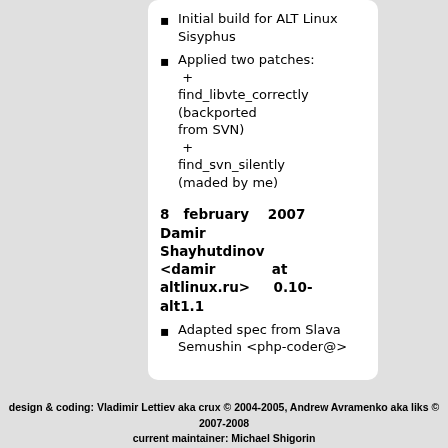Initial build for ALT Linux Sisyphus
Applied two patches:
 + find_libvte_correctly (backported from SVN)
 + find_svn_silently (maded by me)
8   february   2007 Damir Shayhutdinov <damir          at altlinux.ru>    0.10-alt1.1
Adapted spec from Slava Semushin <php-coder@>
design & coding: Vladimir Lettiev aka crux © 2004-2005, Andrew Avramenko aka liks © 2007-2008
current maintainer: Michael Shigorin